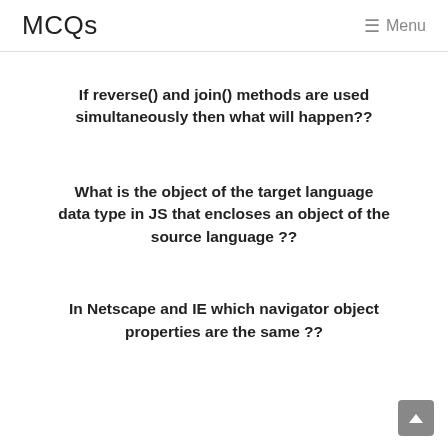MCQs  ☰ Menu
If reverse() and join() methods are used simultaneously then what will happen??
What is the object of the target language data type in JS that encloses an object of the source language ??
In Netscape and IE which navigator object properties are the same ??